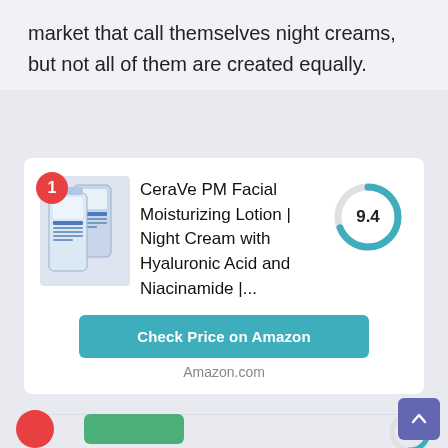market that call themselves night creams, but not all of them are created equally.
[Figure (photo): Product image of CeraVe PM Facial Moisturizing Lotion bottles with ranking badge #1]
CeraVe PM Facial Moisturizing Lotion | Night Cream with Hyaluronic Acid and Niacinamide |...
[Figure (donut-chart): Donut chart showing score 9.4 out of 10, blue arc]
Check Price on Amazon
Amazon.com